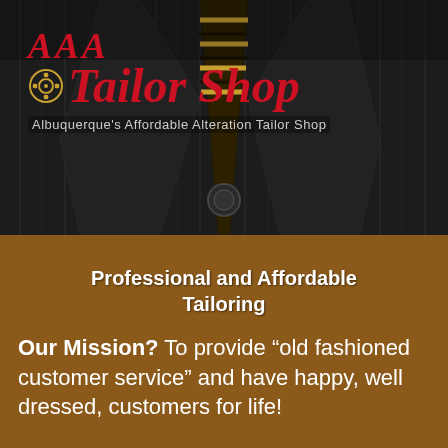[Figure (photo): Close-up photo of a dark pinstripe suit jacket with a striped tie (gold and dark stripes), showing lapels and a button. Overlaid with the AAA Tailor Shop logo in red italic serif font, a film reel icon, and the tagline 'Albuquerque's Affordable Alteration Tailor Shop'.]
Professional and Affordable Tailoring
Our Mission? To provide “old fashioned customer service” and have happy, well dressed, customers for life!